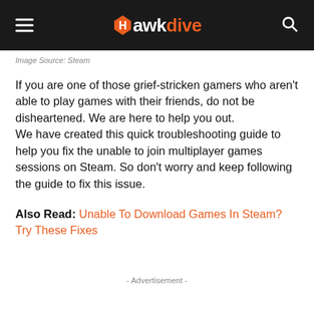Hawkdive
Image Source: Steam
If you are one of those grief-stricken gamers who aren't able to play games with their friends, do not be disheartened. We are here to help you out.
We have created this quick troubleshooting guide to help you fix the unable to join multiplayer games sessions on Steam. So don't worry and keep following the guide to fix this issue.
Also Read: Unable To Download Games In Steam? Try These Fixes
- Advertisement -